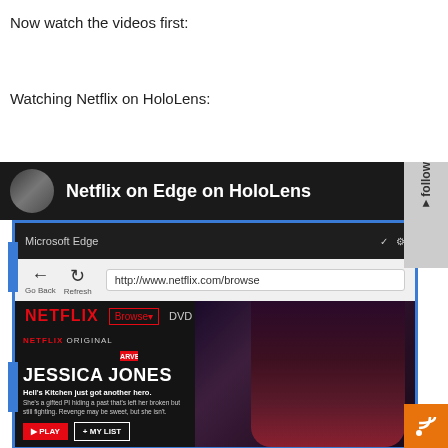Now watch the videos first:
Watching Netflix on HoloLens:
[Figure (screenshot): Screenshot of a YouTube video titled 'Netflix on Edge on HoloLens' showing a HoloLens view of Netflix streaming Jessica Jones in Microsoft Edge browser, with a follow tab on the right side]